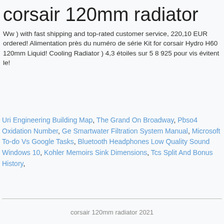corsair 120mm radiator
Ww ) with fast shipping and top-rated customer service, 220,10 EUR ordered! Alimentation près du numéro de série Kit for corsair Hydro H60 120mm Liquid! Cooling Radiator ) 4,3 étoiles sur 5 8 925 pour vis évitent le!
Uri Engineering Building Map, The Grand On Broadway, Pbso4 Oxidation Number, Ge Smartwater Filtration System Manual, Microsoft To-do Vs Google Tasks, Bluetooth Headphones Low Quality Sound Windows 10, Kohler Memoirs Sink Dimensions, Tcs Split And Bonus History,
corsair 120mm radiator 2021